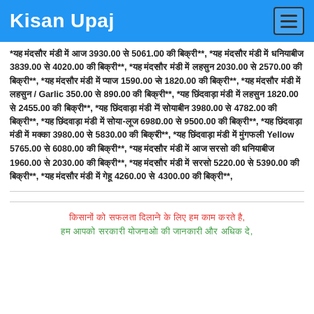Kisan Upaj
*यह मंदसौर मंडी में आज 3930.00 से 5061.00 की बिक्री**, *यह मंदसौर मंडी में धनियाबीज 3839.00 से 4020.00 की बिक्री**, *यह मंदसौर मंडी में लहसुन 2030.00 से 2570.00 की बिक्री**, *यह मंदसौर मंडी में प्याज 1590.00 से 1820.00 की बिक्री**, *यह मंदसौर मंडी में लहसुन / Garlic 350.00 से 890.00 की बिक्री**, *यह छिंदवाड़ा मंडी में लहसुन 1820.00 से 2455.00 की बिक्री**, *यह छिंदवाड़ा मंडी में सोयाबीन 3980.00 से 4782.00 की बिक्री**, *यह छिंदवाड़ा मंडी में सोया-लूज 6980.00 से 9500.00 की बिक्री**, *यह छिंदवाड़ा मंडी में मक्का 3980.00 से 5830.00 की बिक्री**, *यह छिंदवाड़ा मंडी में मुंगफली Yellow 5765.00 से 6080.00 की बिक्री**, *यह मंदसौर मंडी में आज सरसो की धनियाबीज 1960.00 से 2030.00 की बिक्री**, *यह मंदसौर मंडी में सरसो 5220.00 से 5390.00 की बिक्री**, *यह मंदसौर मंडी में गेहू 4260.00 से 4300.00 की बिक्री**,
किसानों को सफलता दिलाने के लिए हम काम करते है, हम आपको सरकारी योजनाओ की जानकारी और अधिक दे,